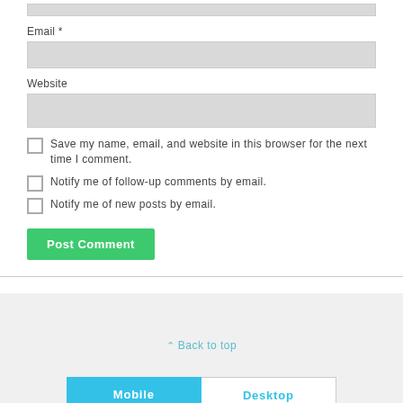Email *
[Figure (screenshot): Empty email input text field with gray background]
Website
[Figure (screenshot): Empty website input text field with gray background]
Save my name, email, and website in this browser for the next time I comment.
Notify me of follow-up comments by email.
Notify me of new posts by email.
Post Comment
Back to top
Mobile
Desktop